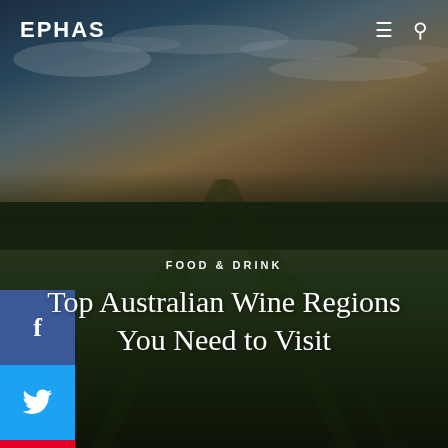EPHAS
[Figure (photo): Panoramic vineyard landscape at dusk with dramatic sky featuring clouds and warm golden light on the horizon, rows of grapevines in foreground]
FOOD & DRINK
Top Australian Wine Regions You Need to Visit